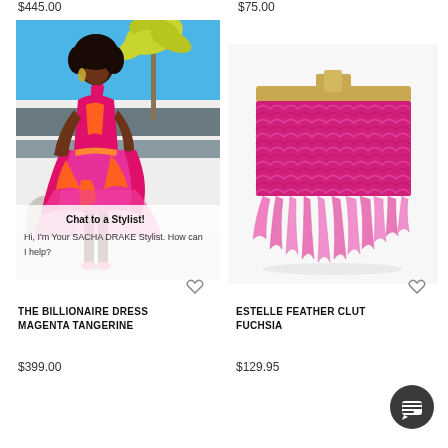$445.00
$75.00
[Figure (photo): Model wearing a magenta and orange floral halter midi dress outdoors with a modern white building and palm tree in the background. A chat overlay reads 'Chat to a Stylist!' and 'Hi, I'm Your SACHA DRAKE Stylist. How can I help?']
[Figure (photo): Estelle feather clutch bag in fuchsia/hot pink with dense feather fringe trim and gold metal frame clasp, displayed on white background]
THE BILLIONAIRE DRESS
MAGENTA TANGERINE
$399.00
ESTELLE FEATHER CLUT
FUCHSIA
$129.95